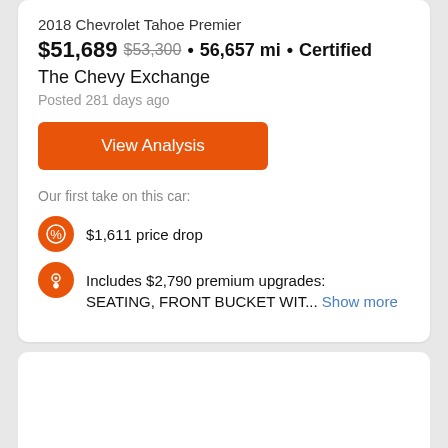2018 Chevrolet Tahoe Premier
$51,689 $53,300 • 56,657 mi • Certified
The Chevy Exchange
Posted 281 days ago
View Analysis
Our first take on this car:
$1,611 price drop
Includes $2,790 premium upgrades: SEATING, FRONT BUCKET WIT... Show more